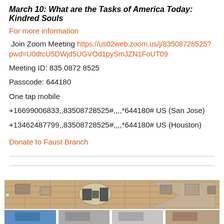March 10: What are the Tasks of America Today: Kindred Souls
For more information
Join Zoom Meeting https://us02web.zoom.us/j/83508728525?pwd=U0dtcU5DWjd5UGVOd1pySmJZN1FoUT09
Meeting ID: 835 0872 8525
Passcode: 644180
One tap mobile
+16699006833,,83508728525#,,,,*644180# US (San Jose)
+13462487799,,83508728525#,,,,*644180# US (Houston)
Donate to Faust Branch
[Figure (map): Aerial/illustrated map and photo strip showing buildings and urban layout]